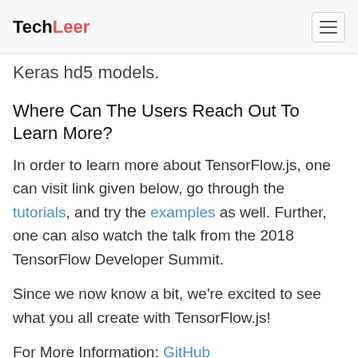TechLeer
Keras hd5 models.
Where Can The Users Reach Out To Learn More?
In order to learn more about TensorFlow.js, one can visit link given below, go through the tutorials, and try the examples as well. Further, one can also watch the talk from the 2018 TensorFlow Developer Summit.
Since we now know a bit, we’re excited to see what you all create with TensorFlow.js!
For More Information: GitHub
tensorflowjs
deep-learning